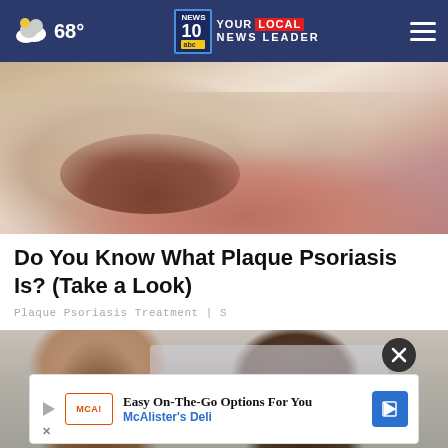68° | NEWS 10 YOUR LOCAL NEWS LEADER
[Figure (photo): Close-up photo of a human foot/ankle showing skin condition consistent with plaque psoriasis, on a wooden floor background]
Do You Know What Plaque Psoriasis Is? (Take a Look)
Plaque Psoriasis Treatment | S
[Figure (photo): Two people (a woman with curly hair and another person) near a vehicle outdoors]
[Figure (infographic): Advertisement banner: Easy On-The-Go Options For You - McAlister's Deli with logo and arrow icon]